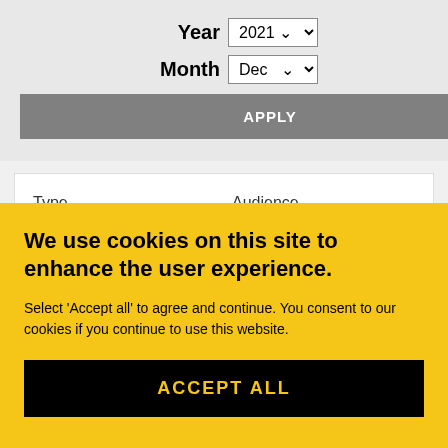Year 2021
Month Dec
APPLY
Type
- Any -
Audience
- Any -
We use cookies on this site to enhance the user experience.
Select 'Accept all' to agree and continue. You consent to our cookies if you continue to use this website.
ACCEPT ALL